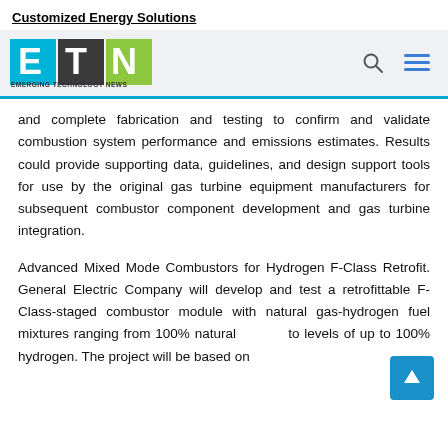Customized Energy Solutions
[Figure (logo): ETN Emerging Technology News logo with search and menu icons on a light grey navigation bar]
and complete fabrication and testing to confirm and validate combustion system performance and emissions estimates. Results could provide supporting data, guidelines, and design support tools for use by the original gas turbine equipment manufacturers for subsequent combustor component development and gas turbine integration.
Advanced Mixed Mode Combustors for Hydrogen F-Class Retrofit. General Electric Company will develop and test a retrofittable F-Class-staged combustor module with natural gas-hydrogen fuel mixtures ranging from 100% natural to levels of up to 100% hydrogen. The project will be based on